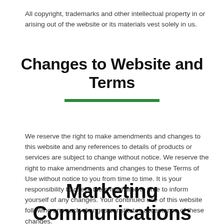All copyright, trademarks and other intellectual property in or arising out of the website or its materials vest solely in us.
Changes to Website and Terms
We reserve the right to make amendments and changes to this website and any references to details of products or services are subject to change without notice. We reserve the right to make amendments and changes to these Terms of Use without notice to you from time to time. It is your responsibility to check them from time to time to inform yourself of any changes. Your continued use of this website following any such changes constitutes acceptance of these changes.
Marketing Communications